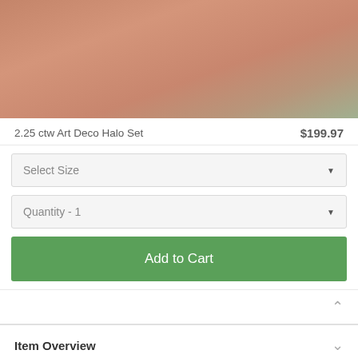[Figure (photo): Close-up product photo showing a halo ring set worn on a hand, with warm skin tones and a hint of greenery in the background.]
2.25 ctw Art Deco Halo Set
$199.97
Select Size
Quantity - 1
Add to Cart
Item Overview
Modern yet romantic, honor the one you love with this stunning art deco vintage style halo set.
Each handmade piece is crafted with the perfect conflict-free alternative to a